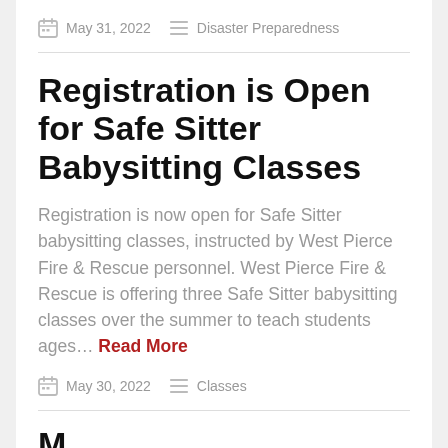May 31, 2022   Disaster Preparedness
Registration is Open for Safe Sitter Babysitting Classes
Registration is now open for Safe Sitter babysitting classes, instructed by West Pierce Fire & Rescue personnel. West Pierce Fire & Rescue is offering three Safe Sitter babysitting classes over the summer to teach students ages… Read More
May 30, 2022   Classes